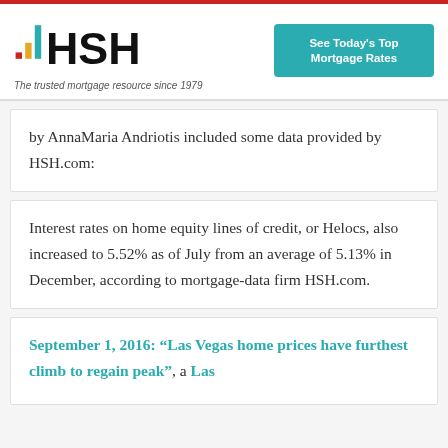HSH - The trusted mortgage resource since 1979
by AnnaMaria Andriotis included some data provided by HSH.com:
Interest rates on home equity lines of credit, or Helocs, also increased to 5.52% as of July from an average of 5.13% in December, according to mortgage-data firm HSH.com.
September 1, 2016: “Las Vegas home prices have furthest climb to regain peak”, a Las